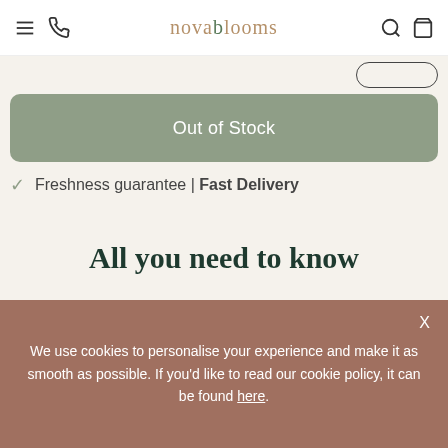novablooms
Out of Stock
Freshness guarantee | Fast Delivery
All you need to know
Product description
We use cookies to personalise your experience and make it as smooth as possible. If you'd like to read our cookie policy, it can be found here.